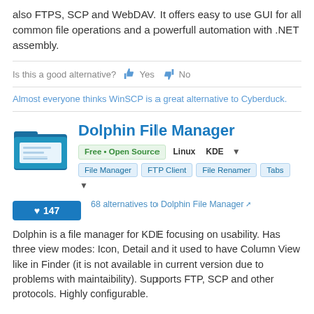also FTPS, SCP and WebDAV. It offers easy to use GUI for all common file operations and a powerfull automation with .NET assembly.
Is this a good alternative? Yes No
Almost everyone thinks WinSCP is a great alternative to Cyberduck.
Dolphin File Manager
Free • Open Source  Linux  KDE  File Manager  FTP Client  File Renamer  Tabs
147  68 alternatives to Dolphin File Manager
Dolphin is a file manager for KDE focusing on usability. Has three view modes: Icon, Detail and it used to have Column View like in Finder (it is not available in current version due to problems with maintaibility). Supports FTP, SCP and other protocols. Highly configurable.
Is this a good alternative? Yes No